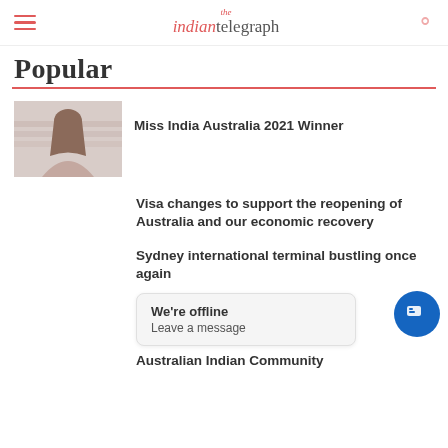the indian telegraph
Popular
[Figure (photo): Thumbnail photo of a young woman smiling, used as article image for Miss India Australia 2021 Winner]
Miss India Australia 2021 Winner
Visa changes to support the reopening of Australia and our economic recovery
Sydney international terminal bustling once again
We're offline
Leave a message
Australian Indian Community